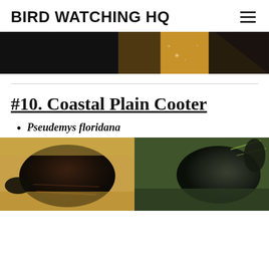BIRD WATCHING HQ
[Figure (photo): Hero banner image with dark/bokeh style photo strip]
#10. Coastal Plain Cooter
Pseudemys floridana
[Figure (photo): Two photos of Coastal Plain Cooter turtles side by side]